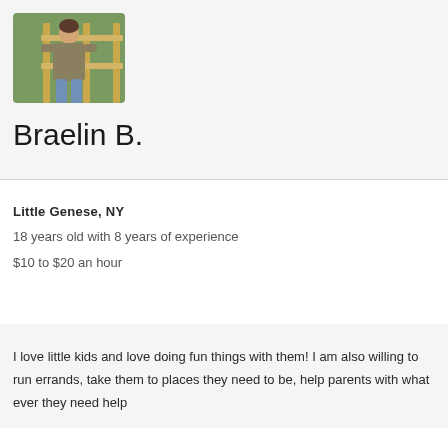[Figure (photo): Profile photo of a young person standing near a wooden fence with green grass in the background, wearing a tan/olive jacket and jeans.]
Braelin B.
Little Genese, NY
18 years old with 8 years of experience
$10 to $20 an hour
I love little kids and love doing fun things with them! I am also willing to run errands, take them to places they need to be, help parents with what ever they need help